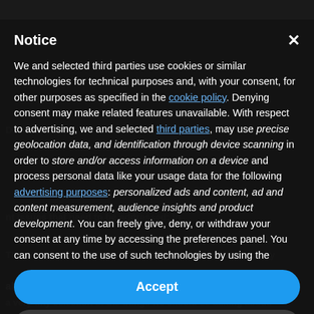[Figure (screenshot): Dark background with a person wearing a black mask, partially visible behind a modal cookie consent dialog.]
Notice
We and selected third parties use cookies or similar technologies for technical purposes and, with your consent, for other purposes as specified in the cookie policy. Denying consent may make related features unavailable. With respect to advertising, we and selected third parties, may use precise geolocation data, and identification through device scanning in order to store and/or access information on a device and process personal data like your usage data for the following advertising purposes: personalized ads and content, ad and content measurement, audience insights and product development. You can freely give, deny, or withdraw your consent at any time by accessing the preferences panel. You can consent to the use of such technologies by using the
Accept
Learn more and customize